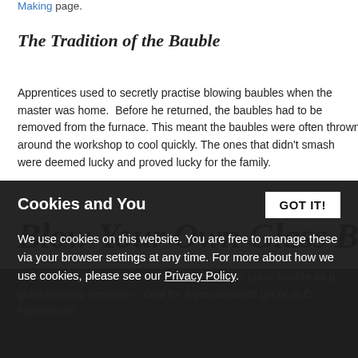Making page.
The Tradition of the Bauble
Apprentices used to secretly practise blowing baubles when the master was home. Before he returned, the baubles had to be removed from the furnace. This meant the baubles were often thrown around the workshop to cool quickly. The ones that didn't smash were deemed lucky and proved lucky for the family.
Blow Your Own Glass Baubl
We offer the opportunity to blow into your own glass bauble as part of our glass blowing sessions - ideal for a personalised gift or at Christmas experience!
Cookies and You
GOT IT!
We use cookies on this website. You are free to manage these via your browser settings at any time. For more about how we use cookies, please see our Privacy Policy.